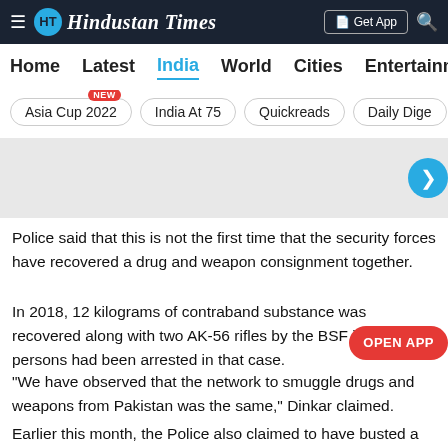Hindustan Times — Top navigation bar with Home, Latest, India, World, Cities, Entertainment
Home   Latest   India   World   Cities   Entertainment
Asia Cup 2022 [NEW]   India At 75   Quickreads   Daily Dige...
[Figure (other): Grey advertisement banner with a teal arrow-circle button on the right]
Police said that this is not the first time that the security forces have recovered a drug and weapon consignment together.
In 2018, 12 kilograms of contraband substance was recovered along with two AK-56 rifles by the BSF in Tangdha... persons had been arrested in that case.
“We have observed that the network to smuggle drugs and weapons from Pakistan was the same,” Dinkar claimed.
Earlier this month, the Police also claimed to have busted a narco-terror module in which three LeT militants were